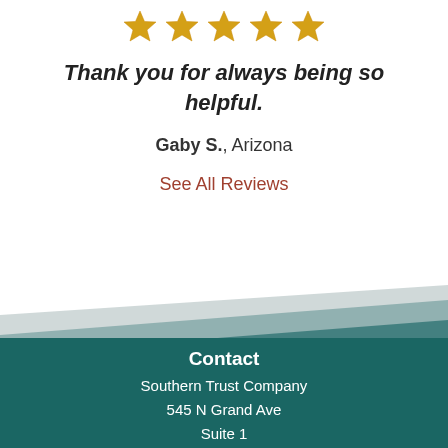[Figure (illustration): Five gold star rating icons in a row]
Thank you for always being so helpful.
Gaby S., Arizona
See All Reviews
[Figure (illustration): Diagonal layered teal/grey decorative bands transitioning to dark teal footer]
Contact
Southern Trust Company
545 N Grand Ave
Suite 1
Nogales, Arizona 85621